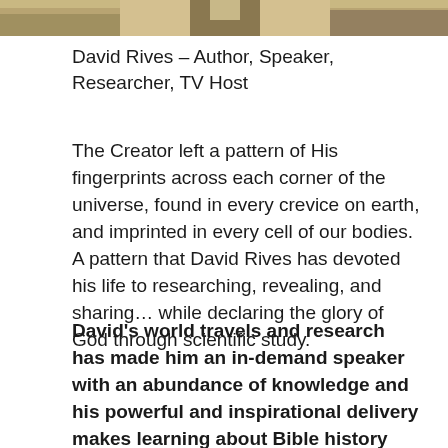[Figure (photo): Top portion of a photo showing a person outdoors, cropped at the bottom — only the upper/middle section visible, with a natural outdoor background.]
David Rives – Author, Speaker, Researcher, TV Host
The Creator left a pattern of His fingerprints across each corner of the universe, found in every crevice on earth, and imprinted in every cell of our bodies. A pattern that David Rives has devoted his life to researching, revealing, and sharing… while declaring the glory of God through scientific study.
David's world travels and research has made him an in-demand speaker with an abundance of knowledge and his powerful and inspirational delivery makes learning about Bible history and science fun and easy for audiences of